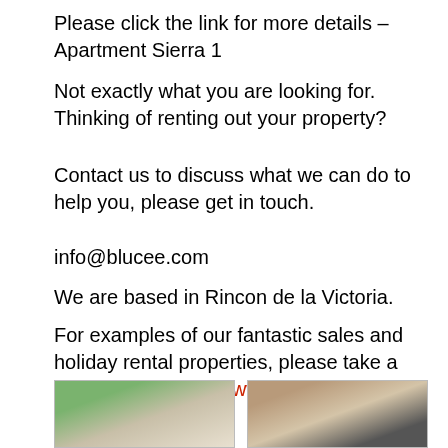Please click the link for more details – Apartment Sierra 1
Not exactly what you are looking for. Thinking of renting out your property?
Contact us to discuss what we can do to help you, please get in touch.
info@blucee.com
We are based in Rincon de la Victoria.
For examples of our fantastic sales and holiday rental properties, please take a look at our website: www.BluCee.com
BluCee.com is a DigameXtra sponsor so our contact details are shown here every day.
[Figure (photo): Two thumbnail photos of properties at the bottom of the page]